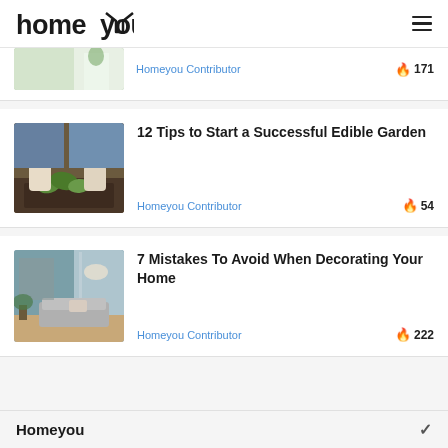homeyou
[Figure (photo): Partial view of a bright room with wooden floor and plant]
Homeyou Contributor
🔥 171
[Figure (photo): Person with gardening gloves planting seedlings in soil]
12 Tips to Start a Successful Edible Garden
Homeyou Contributor
🔥 54
[Figure (photo): Interior living room with teal/blue walls, sofa, and decor]
7 Mistakes To Avoid When Decorating Your Home
Homeyou Contributor
🔥 222
Homeyou